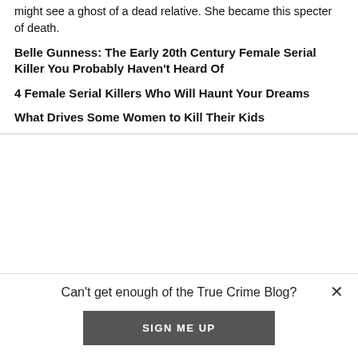might see a ghost of a dead relative. She became this specter of death.
Belle Gunness: The Early 20th Century Female Serial Killer You Probably Haven't Heard Of
4 Female Serial Killers Who Will Haunt Your Dreams
What Drives Some Women to Kill Their Kids
Can't get enough of the True Crime Blog?
SIGN ME UP